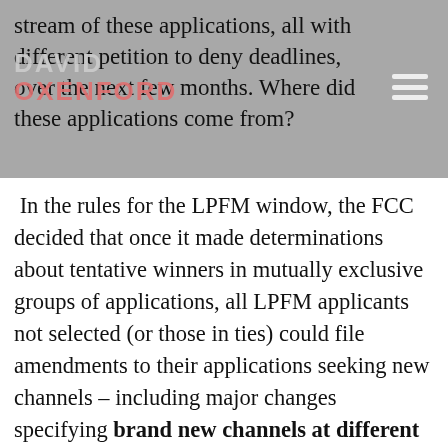stream of these applications, all with different petition to deny deadlines, over the next few months.  Where did these applications come from?
In the rules for the LPFM window, the FCC decided that once it made determinations about tentative winners in mutually exclusive groups of applications, all LPFM applicants not selected (or those in ties) could file amendments to their applications seeking new channels – including major changes specifying brand new channels at different sites having no relation to the original application but for meeting the general requirements that the controlling parties in these applicants be local to the service area that they propose to serve.  As these amendments are processed on a first-come, first-serve basis, many LPFM applicants were apparently ready to go with